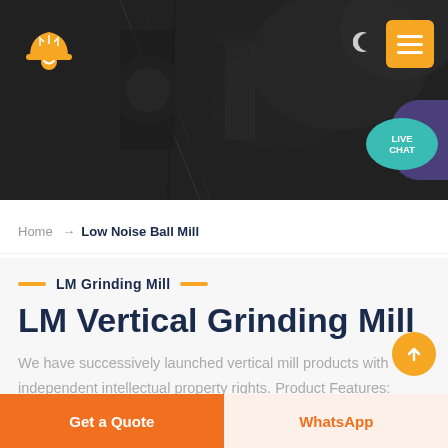[Figure (photo): Dark industrial mining/quarry machinery hero banner image with rocky background. Contains logo (orange hard hat icon), dark mode toggle (moon icon), yellow hamburger menu button, teal live chat speech bubble, and purple decorative shape.]
Home → Low Noise Ball Mill
LM Grinding Mill
LM Vertical Grinding Mill
We have successively launched vertical mill products with independent intellectual property rights. Product Features: Integration of multiple functions, more stable and reliable
Get a Quote
WhatsApp